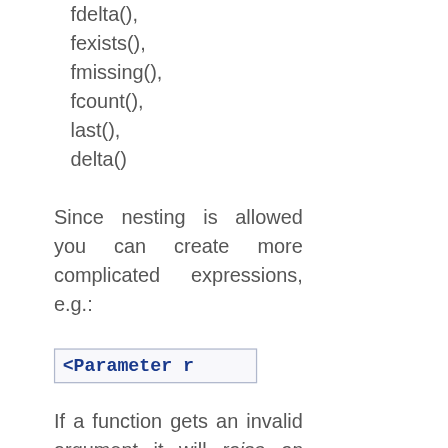fdelta(),
fexists(),
fmissing(),
fcount(),
last(),
delta()
Since nesting is allowed you can create more complicated expressions, e.g.:
<Parameter r
If a function gets an invalid argument it will raise an exception